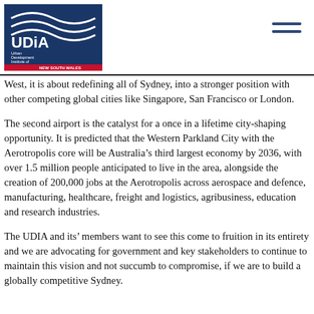UDIA NSW logo and navigation
West, it is about redefining all of Sydney, into a stronger position with other competing global cities like Singapore, San Francisco or London.
The second airport is the catalyst for a once in a lifetime city-shaping opportunity. It is predicted that the Western Parkland City with the Aerotropolis core will be Australia’s third largest economy by 2036, with over 1.5 million people anticipated to live in the area, alongside the creation of 200,000 jobs at the Aerotropolis across aerospace and defence, manufacturing, healthcare, freight and logistics, agribusiness, education and research industries.
The UDIA and its’ members want to see this come to fruition in its entirety and we are advocating for government and key stakeholders to continue to maintain this vision and not succumb to compromise, if we are to build a globally competitive Sydney.